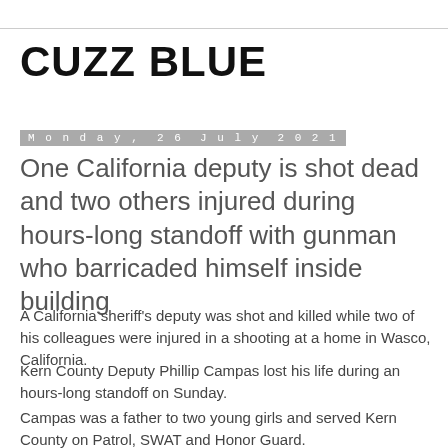CUZZ BLUE
Monday, 26 July 2021
One California deputy is shot dead and two others injured during hours-long standoff with gunman who barricaded himself inside building
A California sheriff's deputy was shot and killed while two of his colleagues were injured in a shooting at a home in Wasco, California.
Kern County Deputy Phillip Campas lost his life during an hours-long standoff on Sunday.
Campas was a father to two young girls and served Kern County on Patrol, SWAT and Honor Guard.